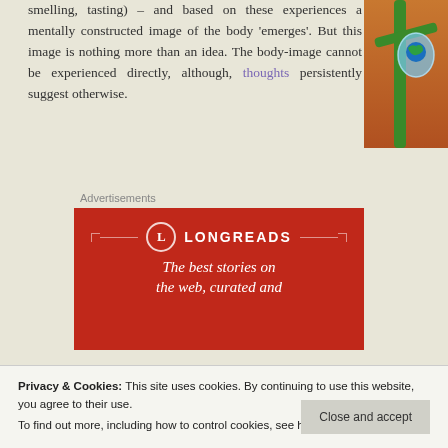smelling, tasting) – and based on these experiences a mentally constructed image of the body 'emerges'. But this image is nothing more than an idea. The body-image cannot be experienced directly, although, thoughts persistently suggest otherwise.
[Figure (photo): Close-up photo of a green plant stem with a water droplet containing a reflection of Earth, against an orange/brown blurred background.]
Advertisements
[Figure (other): Longreads advertisement banner with red background, showing the Longreads logo and text 'The best stories on the web, curated and...']
Privacy & Cookies: This site uses cookies. By continuing to use this website, you agree to their use.
To find out more, including how to control cookies, see here: Cookie Policy